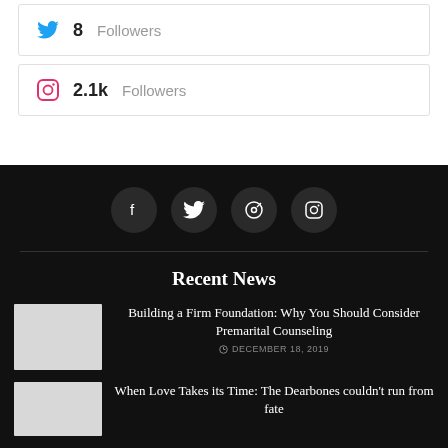8 Followers (Twitter)
2.1k Followers (Instagram)
[Figure (other): Row of four dark circular social media icons: Facebook, Twitter, Pinterest, Instagram on black background]
Recent News
[Figure (photo): Thumbnail image placeholder for first news article]
Building a Firm Foundation: Why You Should Consider Premarital Counseling
DECEMBER 18, 2019
[Figure (photo): Thumbnail image placeholder for second news article]
When Love Takes its Time: The Dearbones couldn’t run from fate